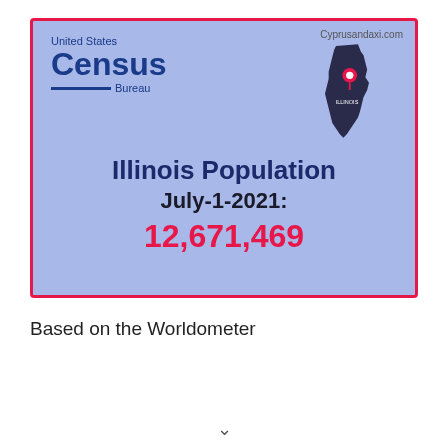[Figure (infographic): US Census Bureau infographic card showing Illinois state map with location pin, displaying Illinois Population July-1-2021: 12,671,469. Card has blue background with pink/red border. Cyprusandaxi.com watermark in top right.]
Based on the Worldometer